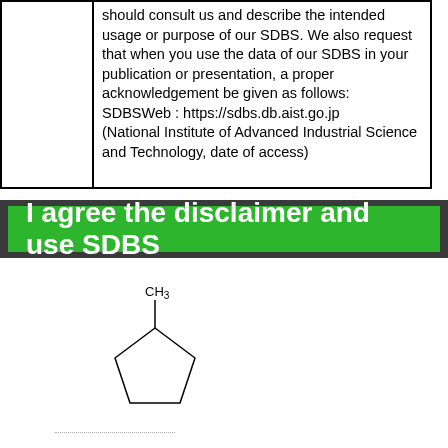|  | should consult us and describe the intended usage or purpose of our SDBS. We also request that when you use the data of our SDBS in your publication or presentation, a proper acknowledgement be given as follows:
SDBSWeb : https://sdbs.db.aist.go.jp
(National Institute of Advanced Industrial Science and Technology, date of access) |
I agree the disclaimer and use SDBS
[Figure (engineering-diagram): Chemical structure of methylcyclopentane: a cyclopentane ring with a CH3 group attached at the top.]